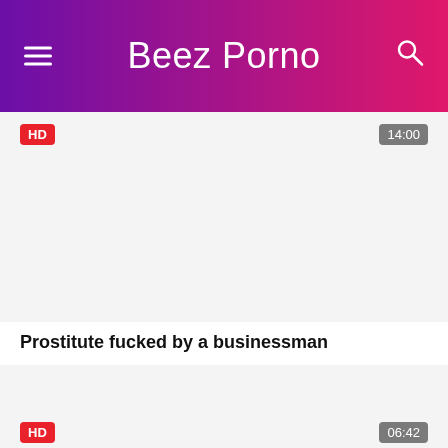Beez Porno
[Figure (screenshot): Video thumbnail placeholder (white/light gray area) with HD badge and 14:00 duration badge]
Prostitute fucked by a businessman
[Figure (screenshot): Second video thumbnail placeholder (white/light gray area) with HD badge and 06:42 duration badge]